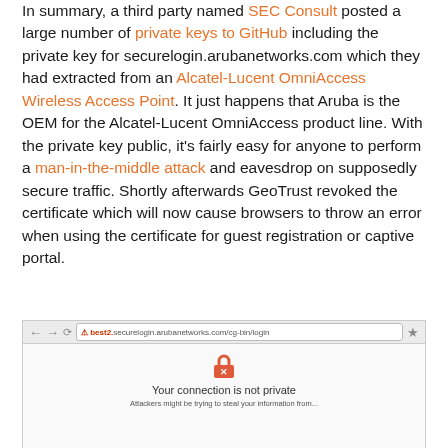In summary, a third party named SEC Consult posted a large number of private keys to GitHub including the private key for securelogin.arubanetworks.com which they had extracted from an Alcatel-Lucent OmniAccess Wireless Access Point. It just happens that Aruba is the OEM for the Alcatel-Lucent OmniAccess product line. With the private key public, it's fairly easy for anyone to perform a man-in-the-middle attack and eavesdrop on supposedly secure traffic. Shortly afterwards GeoTrust revoked the certificate which will now cause browsers to throw an error when using the certificate for guest registration or captive portal.
[Figure (screenshot): Browser screenshot showing a 'Your connection is not private' error page with a red padlock icon with an X, and subtitle text 'Attackers might be trying to steal your information from...']